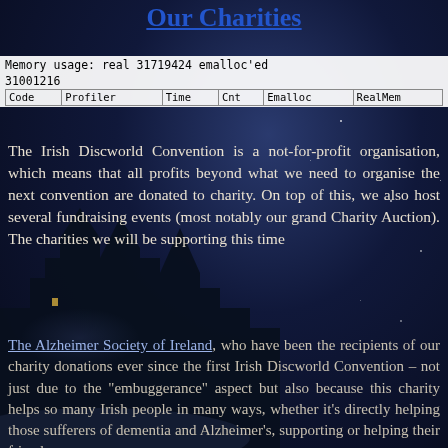Our Charities
The Irish Discworld Convention is a not-for-profit organisation, which means that all profits beyond what we need to organise the next convention are donated to charity. On top of this, we also host several fundraising events (most notably our grand Charity Auction). The charities we will be supporting this time are:
The Alzheimer Society of Ireland, who have been the recipients of our charity donations ever since the first Irish Discworld Convention – not just due to the 'embuggerance' aspect but also because this charity helps so many Irish people in many ways, whether it's directly helping those sufferers of dementia and Alzheimer's, supporting or helping their friends and family or raising awareness and coming up...